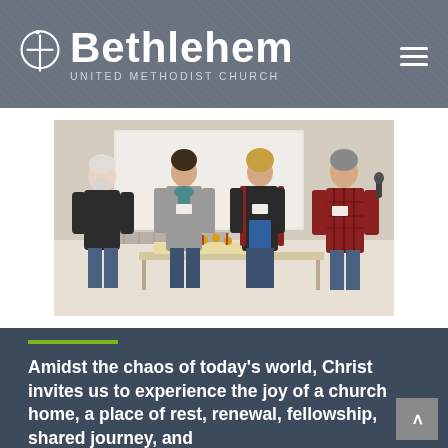Bethlehem United Methodist Church
[Figure (photo): Four people standing in a room near a table with flowers and papers. One man on far right holds a microphone. They appear to be at a church gathering or meeting.]
Amidst the chaos of today's world, Christ invites us to experience the joy of a church home, a place of rest, renewal, fellowship, shared journey, and